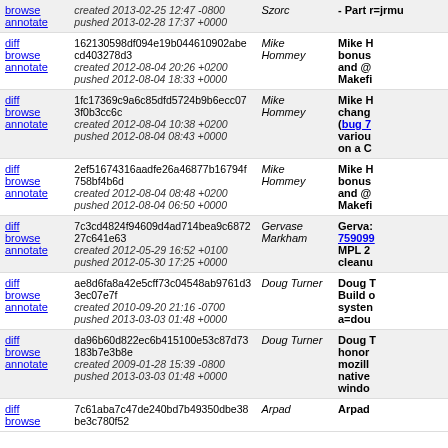| links | changeset | author | description |
| --- | --- | --- | --- |
| diff browse annotate | created 2013-02-25 12:47 -0800
pushed 2013-02-28 17:37 +0000 | Szorc | - Part r=jrmu |
| diff browse annotate | 162130598df094e19b044610902abecd403278d3
created 2012-08-04 20:26 +0200
pushed 2012-08-04 18:33 +0000 | Mike Hommey | Mike H bonus and @ Makefi |
| diff browse annotate | 1fc17369c9a6c85dfd5724b9b6ecc073f0b3cc6c
created 2012-08-04 10:38 +0200
pushed 2012-08-04 08:43 +0000 | Mike Hommey | Mike H chang (bug 7 variou on a C |
| diff browse annotate | 2ef51674316aadfe26a46877b16794f758bf4b6d
created 2012-08-04 08:48 +0200
pushed 2012-08-04 06:50 +0000 | Mike Hommey | Mike H bonus and @ Makefi |
| diff browse annotate | 7c3cd4824f94609d4ad714bea9c687227c641e63
created 2012-05-29 16:52 +0100
pushed 2012-05-30 17:25 +0000 | Gervase Markham | Gerva: 759099 MPL 2 cleanu |
| diff browse annotate | ae8d6fa8a42e5cff73c04548ab9761d33ec07e7f
created 2010-09-20 21:16 -0700
pushed 2013-03-03 01:48 +0000 | Doug Turner | Doug T Build o systen a=dou |
| diff browse annotate | da96b60d822ec6b415100e53c87d73183b7e3b8e
created 2009-01-28 15:39 -0800
pushed 2013-03-03 01:48 +0000 | Doug Turner | Doug T honor mozilla native windo |
| diff browse annotate | 7c61aba7c47de240bd7b49350dbe38be3c780f52
created ... | Arpad | Arpad |